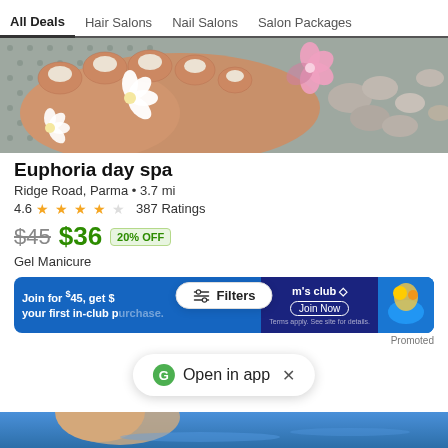All Deals  Hair Salons  Nail Salons  Salon Packages
[Figure (photo): Close-up photo of feet with manicured toenails and white and pink flowers with pebbles on a textured surface]
Euphoria day spa
Ridge Road, Parma • 3.7 mi
4.6 ★★★★½ 387 Ratings
$45  $36  20% OFF
Gel Manicure
[Figure (infographic): Sam's Club advertisement: Join for $45, get $ your first in-club purchase. Join Now. Promoted.]
Filters
G  Open in app  ×
[Figure (photo): Partial photo at bottom of page showing a person near water]